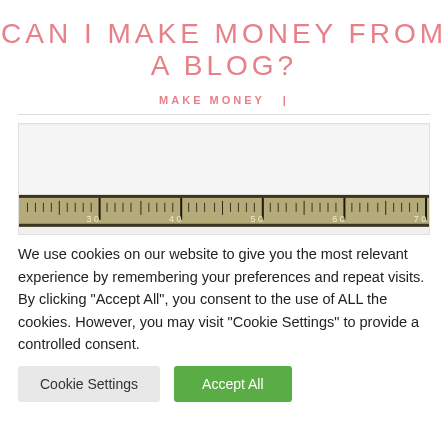CAN I MAKE MONEY FROM A BLOG?
MAKE MONEY  |
[Figure (photo): A close-up photograph of a ruler showing measurement markings around 30 to 70 units, with a tan/beige color and black tick marks.]
We use cookies on our website to give you the most relevant experience by remembering your preferences and repeat visits. By clicking "Accept All", you consent to the use of ALL the cookies. However, you may visit "Cookie Settings" to provide a controlled consent.
Cookie Settings   Accept All